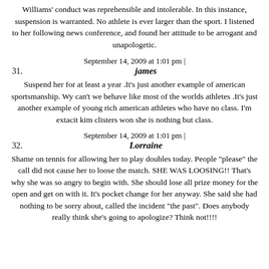Williams' conduct was reprehensible and intolerable. In this instance, suspension is warranted. No athlete is ever larger than the sport. I listened to her following news conference, and found her attitude to be arrogant and unapologetic.
September 14, 2009 at 1:01 pm |
31.
james
Suspend her for at least a year .It's just another example of american sportsmanship. Wy can't we behave like most of the worlds athletes .It's just another example of young rich american athletes who have no class. I'm extacit kim clisters won she is nothing but class.
September 14, 2009 at 1:01 pm |
32.
Lorraine
Shame on tennis for allowing her to play doubles today. People "please" the call did not cause her to loose the match. SHE WAS LOOSING!! That's why she was so angry to begin with. She should lose all prize money for the open and get on with it. It's pocket change for her anyway. She said she had nothing to be sorry about, called the incident "the past". Does anybody really think she's going to apologize? Think not!!!!